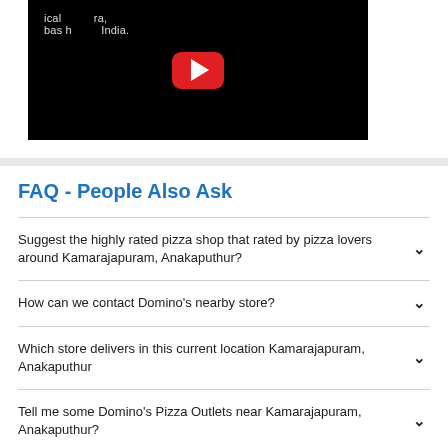[Figure (screenshot): YouTube video thumbnail showing a dark background with partial white text and a red YouTube play button in the center]
FAQ - People Also Ask
Suggest the highly rated pizza shop that rated by pizza lovers around Kamarajapuram, Anakaputhur?
How can we contact Domino's nearby store?
Which store delivers in this current location Kamarajapuram, Anakaputhur
Tell me some Domino's Pizza Outlets near Kamarajapuram, Anakaputhur?
Which is the latest launched Domino's store in Chennai?
Which is the best restaurants near Kamarajapuram, Anakaputhur?